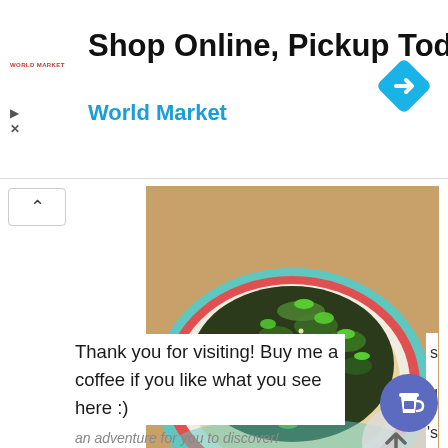[Figure (screenshot): Advertisement banner: 'Shop Online, Pickup Today - World Market' with blue diamond navigation icon and World Market logo]
[Figure (photo): A plate of noodles topped with dark green chopped herbs/seaweed and sesame seeds on a teal-striped plate on a wooden table]
Thank you for visiting! Buy me a coffee if you like what you see here :)
an adventure for you to discover!